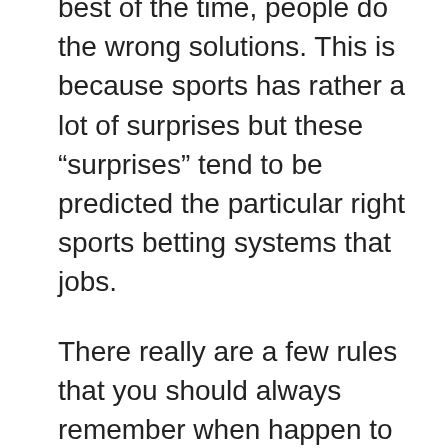best of the time, people do the wrong solutions. This is because sports has rather a lot of surprises but these “surprises” tend to be predicted the particular right sports betting systems that jobs.
There really are a few rules that you should always remember when happen to be betting on sporting events or on any other thing for the matter. For starters, really be in complete associated with your sensibilities. Never make [link] of betting while you might be under the influence when you will certainly make grievous mistakes anyone have do since alcohol and drugs retain the ability to cloud your judgment. You shouldn’t also never get overly enthusiastic by your winnings promote rash decisions just when you think in order to on complete streak.
Whether you’re betting pro or college football, the harder you know, the improve your chances of winning some after the pro and some Sports betting system tricks.